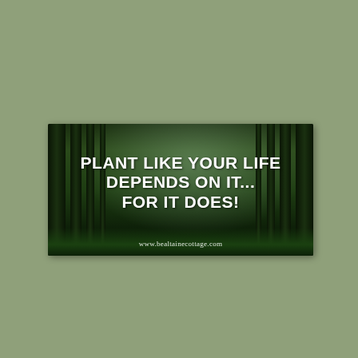[Figure (photo): A forest scene with tall dark tree trunks, mossy green ground, and misty light in the background. Overlaid with bold white text reading 'PLANT LIKE YOUR LIFE DEPENDS ON IT... FOR IT DOES!' and a website URL 'www.bealtainecottage.com' at the bottom.]